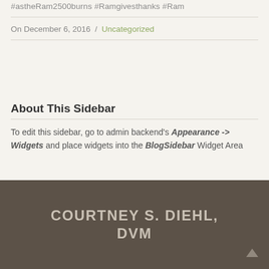#astheRam2500burns #Ramgivesthanks #Ram
On December 6, 2016 / Uncategorized
About This Sidebar
To edit this sidebar, go to admin backend's Appearance -> Widgets and place widgets into the BlogSidebar Widget Area
COURTNEY S. DIEHL, DVM